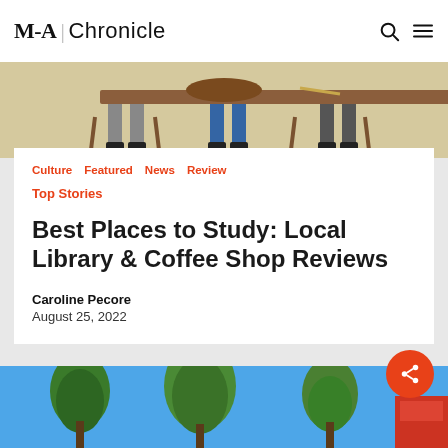M-A Chronicle
[Figure (illustration): Illustrated scene showing people's legs seated around a table, drawn in a naive/folk art style with brown table and chairs on beige background]
Culture   Featured   News   Review
Top Stories
Best Places to Study: Local Library & Coffee Shop Reviews
Caroline Pecore
August 25, 2022
[Figure (photo): Outdoor photo showing tall pine/eucalyptus trees against a bright blue sky, bottom of a building/sign visible at far right]